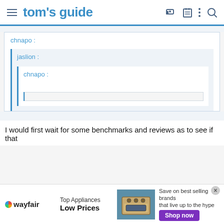tom's guide
chnapo :
jaslion :
chnapo :
I would first wait for some benchmarks and reviews as to see if that
[Figure (screenshot): Wayfair advertisement banner: Top Appliances Low Prices, Save on best selling brands that live up to the hype, Shop now button]